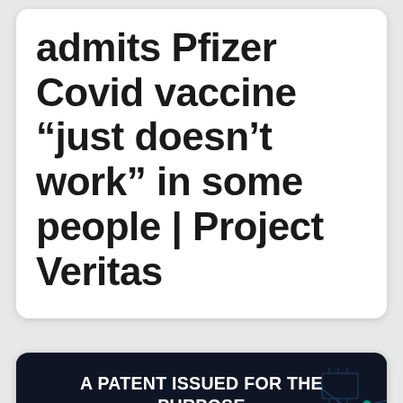admits Pfizer Covid vaccine “just doesn’t work” in some people | Project Veritas
[Figure (infographic): Dark background card with network/circuit pattern showing text about a patent for contact tracing vaccinated humans worldwide]
A PATENT ISSUED FOR THE PURPOSE OF CONTACT TRACING ALL VACCINATED HUMANS WORLDWIDE